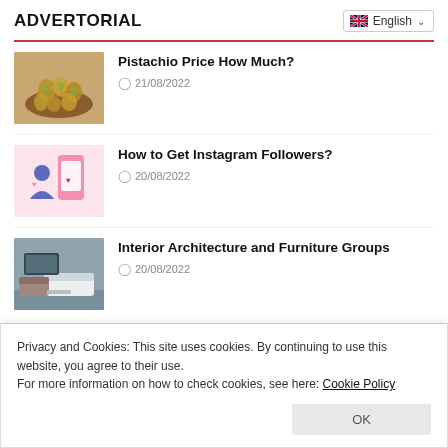ADVERTORIAL
Pistachio Price How Much? | 21/08/2022
How to Get Instagram Followers? | 20/08/2022
Interior Architecture and Furniture Groups | 20/08/2022
Privacy and Cookies: This site uses cookies. By continuing to use this website, you agree to their use.
For more information on how to check cookies, see here: Cookie Policy